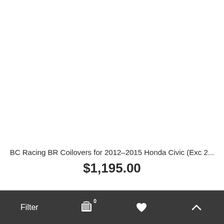BC Racing BR Coilovers for 2012-2015 Honda Civic (Exc 2...
$1,195.00
Filter  [cart icon] 0  [heart icon]  [up arrow icon]